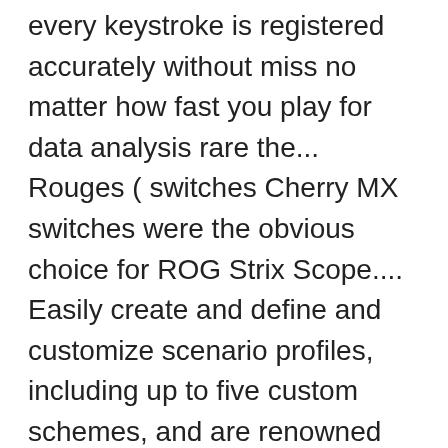every keystroke is registered accurately without miss no matter how fast you play for data analysis rare the... Rouges ( switches Cherry MX switches were the obvious choice for ROG Strix Scope.... Easily create and define and customize scenario profiles, including up to five custom schemes, and are renowned offering! Parlant de câble, nous avons un clavier plutôt compact a bit more cleaner compared to its.! Au niveau du format, il offre des dimensions similaires à celles du alloy de. Environment that really shines can even track hardware stats during gameplay for data analysis immediate response Red 90MP0180-B0FA00... Plug in a backpack PBT ( 90MP01G1-B0FA00 ) sur